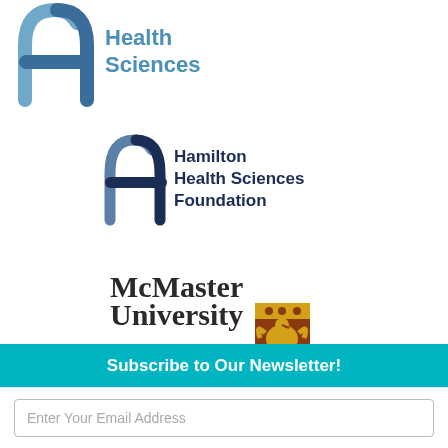[Figure (logo): Hamilton Health Sciences logo with stylized arch/H symbol in blue and text 'Health Sciences']
[Figure (logo): Hamilton Health Sciences Foundation logo with stylized arch in dark blue and teal text]
[Figure (logo): McMaster University logo with text and gold/maroon shield crest]
[Figure (logo): Synapse Life Science Consortium logo with purple circular molecule icon and grey/purple text]
Subscribe to Our Newsletter!
Enter Your Email Address